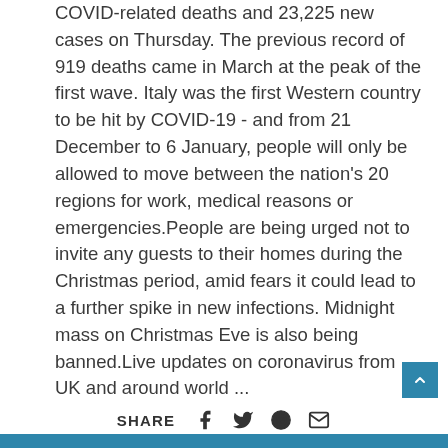COVID-related deaths and 23,225 new cases on Thursday. The previous record of 919 deaths came in March at the peak of the first wave. Italy was the first Western country to be hit by COVID-19 - and from 21 December to 6 January, people will only be allowed to move between the nation's 20 regions for work, medical reasons or emergencies.People are being urged not to invite any guests to their homes during the Christmas period, amid fears it could lead to a further spike in new infections. Midnight mass on Christmas Eve is also being banned.Live updates on coronavirus from UK and around world ...
Read More
SHARE